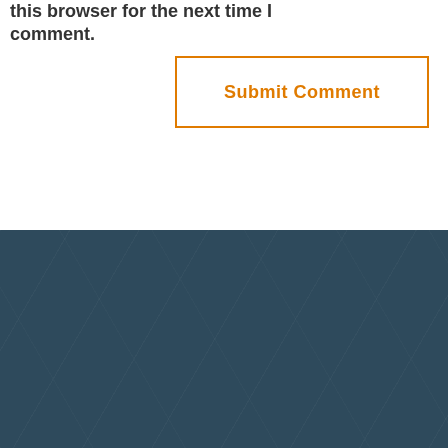this browser for the next time I comment.
[Figure (other): Submit Comment button with orange border and orange text on white background]
info@neo-walk.com

Neo Walk 54 Strensall Road York YO32 9SH